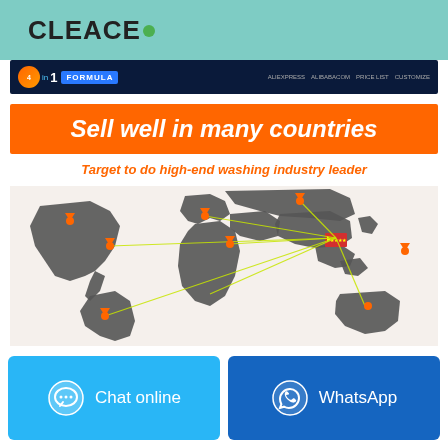CLEACE
[Figure (screenshot): Top banner strip with '4 in 1 FORMULA' badge and navigation links on dark background]
Sell well in many countries
Target to do high-end washing industry leader
[Figure (map): World map on dark grey background showing trade routes from China (marked with red Chinese flag) to multiple countries across Americas, Europe, Africa, Middle East, and Oceania, connected by yellow lines with orange location markers]
Production Environment
[Figure (photo): Two partial photos showing production facility environment — industrial equipment on left, facility interior on right]
Chat online
WhatsApp